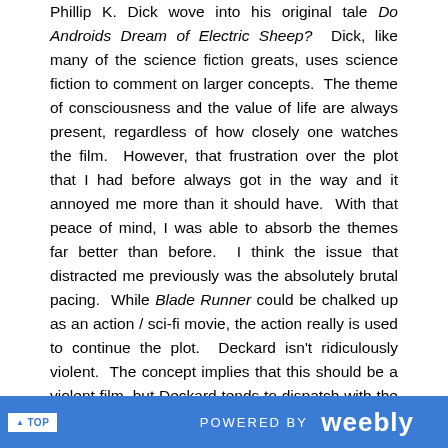Phillip K. Dick wove into his original tale Do Androids Dream of Electric Sheep? Dick, like many of the science fiction greats, uses science fiction to comment on larger concepts. The theme of consciousness and the value of life are always present, regardless of how closely one watches the film. However, that frustration over the plot that I had before always got in the way and it annoyed me more than it should have. With that peace of mind, I was able to absorb the themes far better than before. I think the issue that distracted me previously was the absolutely brutal pacing. While Blade Runner could be chalked up as an action / sci-fi movie, the action really is used to continue the plot. Deckard isn't ridiculously violent. The concept implies that this should be a violent film, but Deckard tends to dispatch with the replicants quite quickly. He is cold and calculating, which doesn't fill the film with scenes of glorious violence. In fact, I don't even think that the violence is glorified. It simply happens and Deckard moves on with his life. That makes a boring movie. Maybe when I got older, I got
▲ TOP    POWERED BY weebly